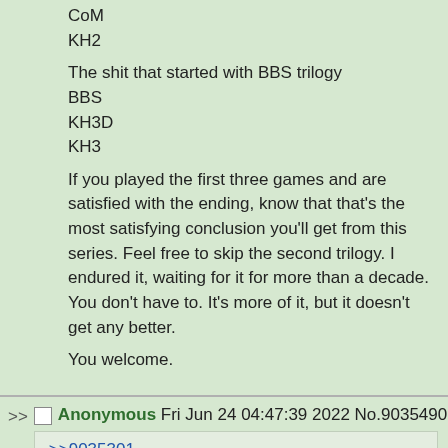CoM
KH2

The shit that started with BBS trilogy
BBS
KH3D
KH3

If you played the first three games and are satisfied with the ending, know that that's the most satisfying conclusion you'll get from this series. Feel free to skip the second trilogy. I endured it, waiting for it for more than a decade. You don't have to. It's more of it, but it doesn't get any better.

You welcome.
Anonymous Fri Jun 24 04:47:39 2022 No.9035490
>>9035301
>PREMIUMING

lmao